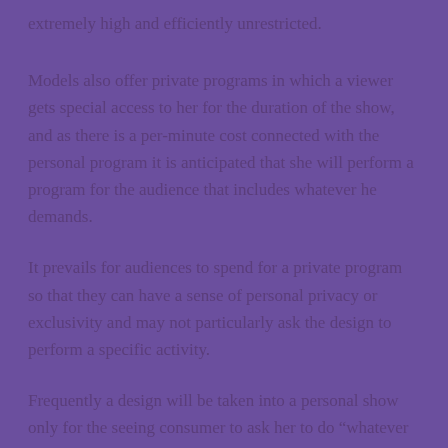extremely high and efficiently unrestricted.
Models also offer private programs in which a viewer gets special access to her for the duration of the show, and as there is a per-minute cost connected with the personal program it is anticipated that she will perform a program for the audience that includes whatever he demands.
It prevails for audiences to spend for a private program so that they can have a sense of personal privacy or exclusivity and may not particularly ask the design to perform a specific activity.
Frequently a design will be taken into a personal show only for the seeing consumer to ask her to do “whatever you like”, which is normally code for masturbating and attaining orgasm.
Viewers who ask for this take pleasure in the satisfaction of knowing they have pleased the model which she has orgasm since